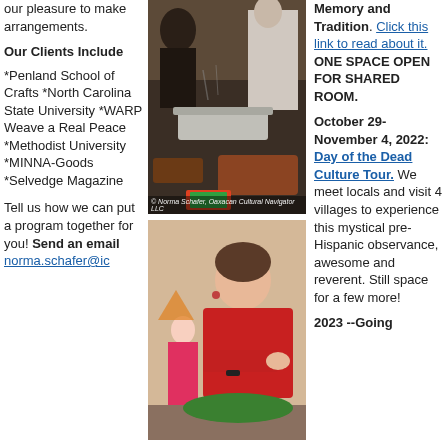our pleasure to make arrangements.
Our Clients Include
*Penland School of Crafts *North Carolina State University *WARP Weave a Real Peace *Methodist University *MINNA-Goods *Selvedge Magazine
Tell us how we can put a program together for you! Send an email norma.schafer@ic
[Figure (photo): People serving food at a catering or cooking event, with pots and foil-covered dishes. Caption: © Norma Schafer, Oaxacan Cultural Navigator LLC]
[Figure (photo): A woman in a red top working at a food preparation table, with other people visible in the background.]
Memory and Tradition. Click this link to read about it. ONE SPACE OPEN FOR SHARED ROOM.
October 29-November 4, 2022: Day of the Dead Culture Tour. We meet locals and visit 4 villages to experience this mystical pre-Hispanic observance, awesome and reverent. Still space for a few more!
2023 --Going